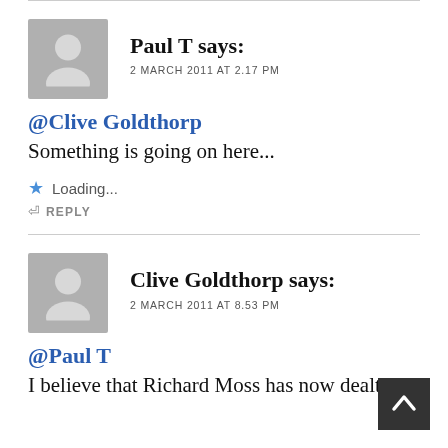Paul T says:
2 MARCH 2011 AT 2.17 PM
@Clive Goldthorp
Something is going on here...
Loading...
REPLY
Clive Goldthorp says:
2 MARCH 2011 AT 8.53 PM
@Paul T
I believe that Richard Moss has now dealt